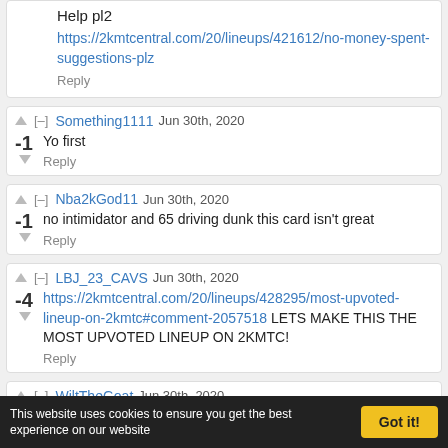Help plz https://2kmtcentral.com/20/lineups/421612/no-money-spent-suggestions-plz Reply
Something1111 Jun 30th, 2020 | -1 Yo first | Reply
Nba2kGod11 Jun 30th, 2020 | -1 no intimidator and 65 driving dunk this card isn't great | Reply
LBJ_23_CAVS Jun 30th, 2020 | -4 https://2kmtcentral.com/20/lineups/428295/most-upvoted-lineup-on-2kmtc#comment-2057518 LETS MAKE THIS THE MOST UPVOTED LINEUP ON 2KMTC! | Reply
WiltTheGoat Jun 30th, 2020 | -6 Who is this boomer | Reply
This website uses cookies to ensure you get the best experience on our website   Got it!